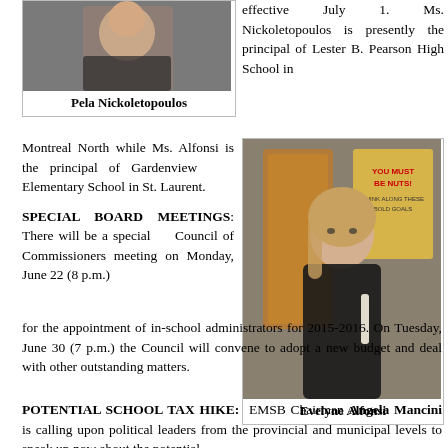[Figure (photo): Photo of Pela Nickoletopoulos]
Pela Nickoletopoulos
effective July 1. Ms. Nickoletopoulos is presently the principal of Lester B. Pearson High School in
Montreal North while Ms. Alfonsi is the principal of Gardenview Elementary School in St. Laurent.
SPECIAL BOARD MEETINGS: There will be a special Council of Commissioners meeting on Monday, June 22 (8 p.m.) for the appointment of in-school administrators for 2015-2016. On Tuesday, June 30 (7 p.m.) the Council will convene to adopt a new budget and deal with other outstanding matters.
[Figure (photo): Photo of Evelyne Alfonsi]
Evelyne Alfonsi
POTENTIAL SCHOOL TAX HIKE: EMSB Chairman Angela Mancini is calling upon political leaders from the provincial and municipal levels to speak up now about the potential